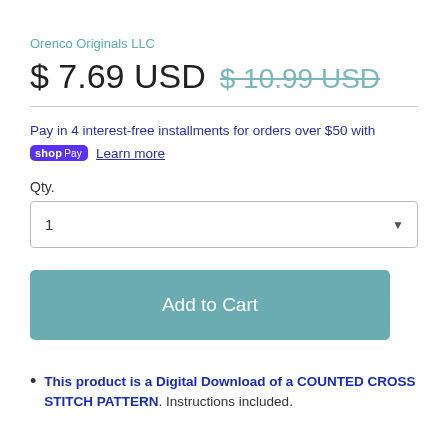Orenco Originals LLC
$ 7.69 USD  $ 10.99 USD
Pay in 4 interest-free installments for orders over $50 with shop Pay  Learn more
Qty.
1
Add to Cart
This product is a Digital Download of a COUNTED CROSS STITCH PATTERN. Instructions included.